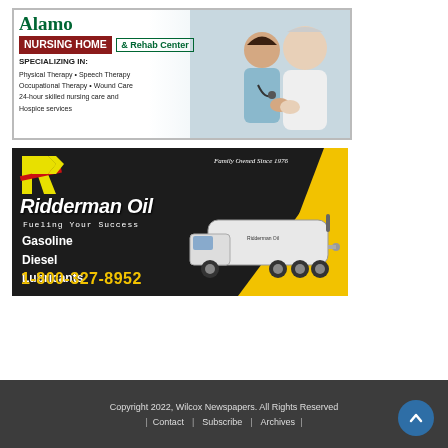[Figure (illustration): Alamo Nursing Home & Rehab Center advertisement. White background with green and dark red branding. Text on left: 'Alamo NURSING HOME & Rehab Center SPECIALIZING IN: Physical Therapy • Speech Therapy Occupational Therapy • Wound Care 24-hour skilled nursing care and Hospice services'. Photo on right shows a nurse and elderly patient smiling.]
[Figure (illustration): Ridderman Oil advertisement. Dark background with yellow diagonal stripe. Large R logo top left. Text: 'Family Owned Since 1976', 'Ridderman Oil', 'Fueling Your Success', 'Gasoline', 'Diesel', 'Lubricants', '1-800-327-8952'. White oil tanker truck on right side.]
Copyright 2022, Wilcox Newspapers. All Rights Reserved | Contact | Subscribe | Archives